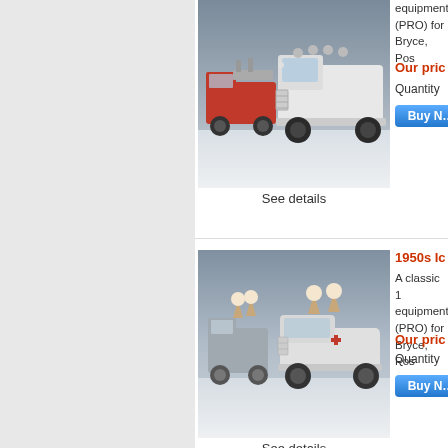[Figure (photo): 3D rendered vintage red fire trucks from the 1950s era, two vehicles shown on a snowy/white ground with a grey stormy sky background]
See details
equipment
(PRO) for
Bryce, Pos
Our pric
Quantity
[Figure (photo): 3D rendered vintage 1950s ice cream trucks, grey/white colored vehicles on a white ground with grey sky background]
See details
1950s Ic
A classic 1
equipment
(PRO) for
Bryce, Pos
Our pric
Quantity